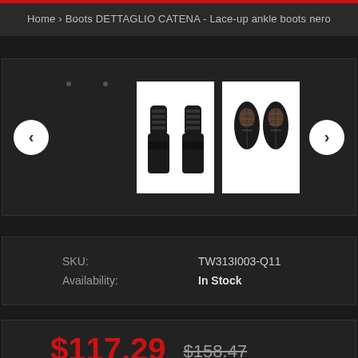Home › Boots DETTAGLIO CATENA - Lace-up ankle boots nero
[Figure (photo): Product carousel showing two thumbnail images of black lace-up ankle boots: one front/back view and one top-down view, with left and right navigation arrows]
| SKU: | TW313I003-Q11 |
| Availability: | In Stock |
$117.29  $158.47